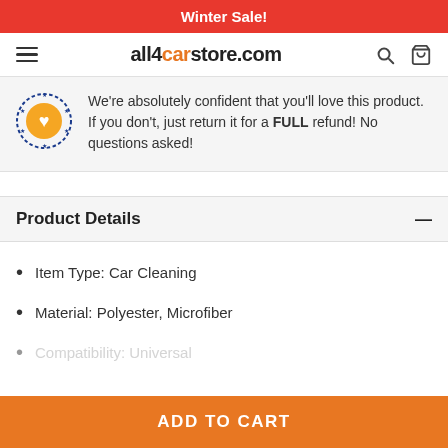Winter Sale!
all4carstore.com
We're absolutely confident that you'll love this product. If you don't, just return it for a FULL refund! No questions asked!
Product Details
Item Type: Car Cleaning
Material: Polyester, Microfiber
Compatibility: Universal